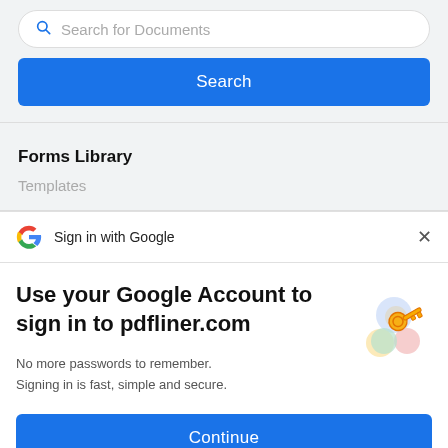[Figure (screenshot): Search bar with magnifying glass icon and placeholder text 'Search for Documents']
Search
Forms Library
Templates
Sign in with Google
Use your Google Account to sign in to pdfliner.com
No more passwords to remember.
Signing in is fast, simple and secure.
Continue